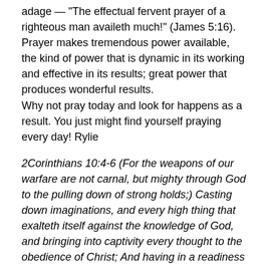adage — “The effectual fervent prayer of a righteous man availeth much!” (James 5:16). Prayer makes tremendous power available, the kind of power that is dynamic in its working and effective in its results; great power that produces wonderful results.
Why not pray today and look for happens as a result. You just might find yourself praying every day! Rylie
2Corinthians 10:4-6 (For the weapons of our warfare are not carnal, but mighty through God to the pulling down of strong holds;) Casting down imaginations, and every high thing that exalteth itself against the knowledge of God, and bringing into captivity every thought to the obedience of Christ; And having in a readiness to revenge all disobedience, when your obedience is fulfilled.
Praying more . . . Today